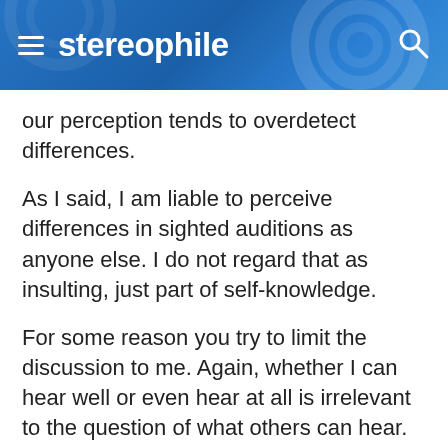stereophile
our perception tends to overdetect differences.
As I said, I am liable to perceive differences in sighted auditions as anyone else. I do not regard that as insulting, just part of self-knowledge.
For some reason you try to limit the discussion to me. Again, whether I can hear well or even hear at all is irrelevant to the question of what others can hear. My hearing abilities